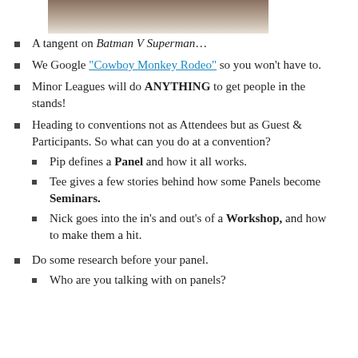[Figure (photo): Partial photo of a person, cropped at top of page]
A tangent on Batman V Superman…
We Google "Cowboy Monkey Rodeo" so you won't have to.
Minor Leagues will do ANYTHING to get people in the stands!
Heading to conventions not as Attendees but as Guest & Participants. So what can you do at a convention?
Pip defines a Panel and how it all works.
Tee gives a few stories behind how some Panels become Seminars.
Nick goes into the in's and out's of a Workshop, and how to make them a hit.
Do some research before your panel.
Who are you talking with on panels?